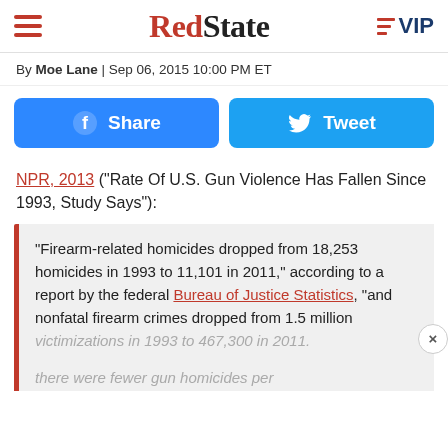RedState | VIP
By Moe Lane | Sep 06, 2015 10:00 PM ET
[Figure (other): Share and Tweet social media buttons]
NPR, 2013 ("Rate Of U.S. Gun Violence Has Fallen Since 1993, Study Says"):
“Firearm-related homicides dropped from 18,253 homicides in 1993 to 11,101 in 2011,” according to a report by the federal Bureau of Justice Statistics, “and nonfatal firearm crimes dropped from 1.5 million victimizations in 1993 to 467,300 in 2011.
there were fewer gun homicides per